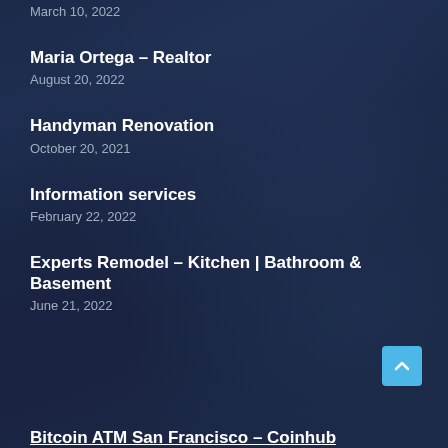March 10, 2022
Maria Ortega – Realtor
August 20, 2022
Handyman Renovation
October 20, 2021
Information services
February 22, 2022
Experts Remodel – Kitchen | Bathroom & Basement
June 21, 2022
Bitcoin ATM San Francisco – Coinhub